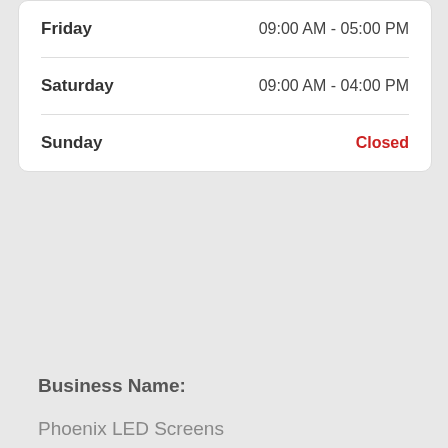| Day | Hours |
| --- | --- |
| Friday | 09:00 AM - 05:00 PM |
| Saturday | 09:00 AM - 04:00 PM |
| Sunday | Closed |
Business Name:
Phoenix LED Screens
Address:
9260 W Yucca St
Peoria AZ 85345
USA
Phone: